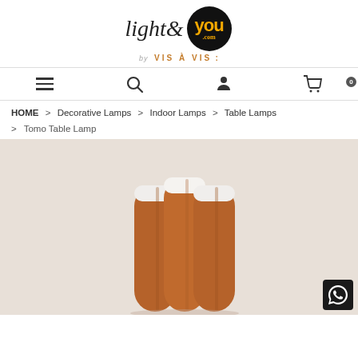light&you.com by VIS À VIS
HOME > Decorative Lamps > Indoor Lamps > Table Lamps > Tomo Table Lamp
[Figure (photo): Product photo of Tomo Table Lamp showing three cylindrical wood-finish columns arranged side by side with white tops, on a light beige background.]